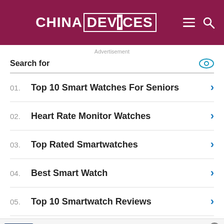CHINA DEVICES
Advertisement
Search for
01. Top 10 Smart Watches For Seniors
02. Heart Rate Monitor Watches
03. Top Rated Smartwatches
04. Best Smart Watch
05. Top 10 Smartwatch Reviews
infolinks  ebsite uses cookies to improve your experience. We'll